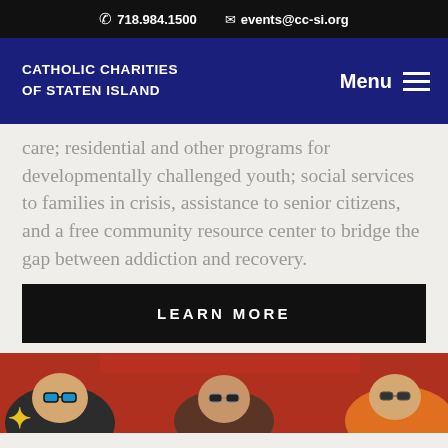✆ 718.984.1500   ✉ events@cc-si.org
Catholic Charities of Staten Island   Menu
care; residential and other programs for developmentally challenged youth; social services to families in crisis, assistance to senior citizens, and a free community resource center to bridge the gap between addiction and recovery.
LEARN MORE
[Figure (photo): Children photographed from above, wearing sunglasses, on a red background]